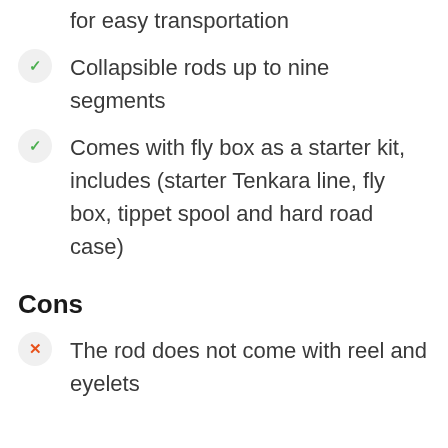for easy transportation
Collapsible rods up to nine segments
Comes with fly box as a starter kit, includes (starter Tenkara line, fly box, tippet spool and hard road case)
Cons
The rod does not come with reel and eyelets